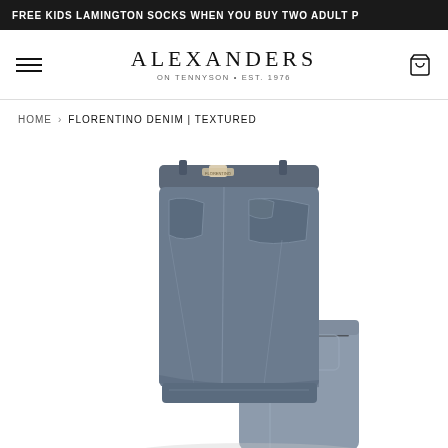FREE KIDS LAMINGTON SOCKS WHEN YOU BUY TWO ADULT P
[Figure (logo): Alexanders on Tennyson logo — brand name in serif caps, tagline 'ON TENNYSON • EST. 1976']
HOME › FLORENTINO DENIM | TEXTURED
[Figure (photo): Florentino denim textured jeans folded/layered — dark indigo blue denim, visible stitching and pockets, one leg folded over the other]